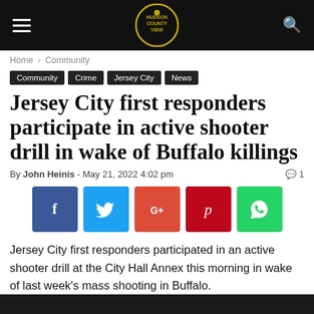Hudson County View — navigation header
Home › Community
Community
Crime
Jersey City
News
Jersey City first responders participate in active shooter drill in wake of Buffalo killings
By John Heinis - May 21, 2022 4:02 pm  💬 1
[Figure (infographic): Social share buttons: Facebook, Twitter, Google+, Pinterest, WhatsApp]
Jersey City first responders participated in an active shooter drill at the City Hall Annex this morning in wake of last week's mass shooting in Buffalo.